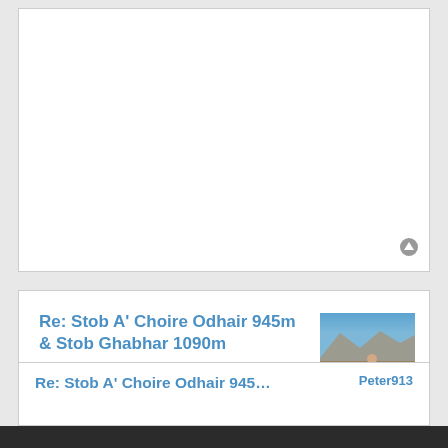[Figure (other): First post box, mostly blank/cropped with a scroll-to-top icon in bottom right]
Re: Stob A' Choire Odhair 945m & Stob Ghabhar 1090m
by mrssanta » Mon Nov 07, 2011 10:02 am
Lovely pictures, I like the b&w at the end. I hope the weekend just gone has made up for the rotten summer for lots of people, seems to have been fantastic. Unfortunately I haven't been able to get further than the back garden so really envious.
[Figure (photo): Avatar photo of mrssanta - person in red jacket on rocky hillside with blue sky]
mrssanta
Re: Stob A' Choire Odhair 945m & Stob
Peter913